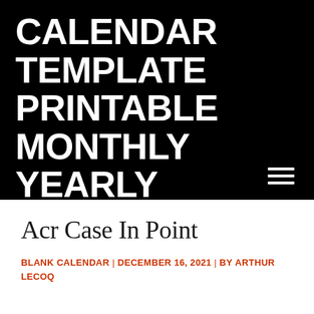CALENDAR TEMPLATE PRINTABLE MONTHLY YEARLY
Acr Case In Point
BLANK CALENDAR | DECEMBER 16, 2021 | BY ARTHUR LECOQ